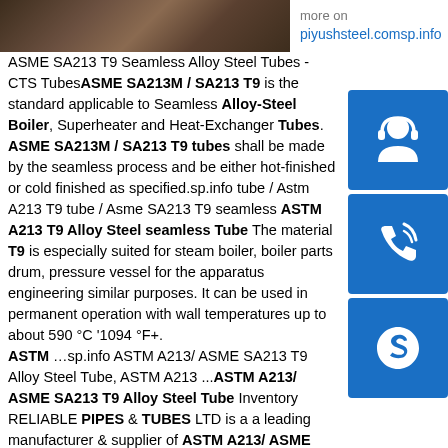[Figure (photo): Photo of steel tubes/pipes, dark brown wood-like texture]
more on piyushsteel.comsp.info
ASME SA213 T9 Seamless Alloy Steel Tubes - CTS TubesASME SA213M / SA213 T9 is the standard applicable to Seamless Alloy-Steel Boiler, Superheater and Heat-Exchanger Tubes. ASME SA213M / SA213 T9 tubes shall be made by the seamless process and be either hot-finished or cold finished as specified.sp.info Astm A213 T9 tube / Asme SA213 T9 seamless tube ASTM A213 T9 Alloy Steel seamless Tube The material T9 is especially suited for steam boiler, boiler parts drum, pressure vessel for the apparatus engineering similar purposes. It can be used in permanent operation with wall temperatures up to about 590 °C '1094 °F+. ASTM …sp.info ASTM A213/ ASME SA213 T9 Alloy Steel Tube, ASTM A213 ...ASTM A213/ ASME SA213 T9 Alloy Steel Tube Inventory RELIABLE PIPES & TUBES LTD is a a leading manufacturer & supplier of ASTM A213/ ASME SA213 T9 Alloy Steel Tube.
[Figure (illustration): Blue icon box with headset/customer service icon]
[Figure (illustration): Blue icon box with phone call icon]
[Figure (illustration): Blue icon box with Skype logo icon]